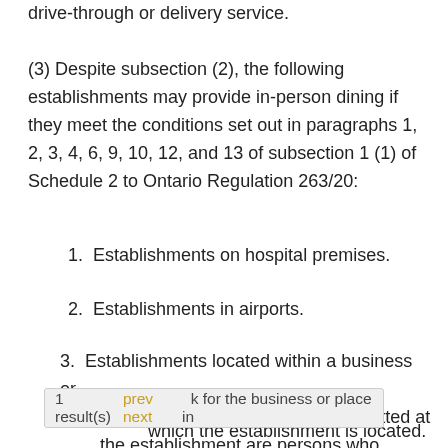drive-through or delivery service.
(3) Despite subsection (2), the following establishments may provide in-person dining if they meet the conditions set out in paragraphs 1, 2, 3, 4, 6, 9, 10, 12, and 13 of subsection 1 (1) of Schedule 2 to Ontario Regulation 263/20:
1. Establishments on hospital premises.
2. Establishments in airports.
3. Establishments located within a business or place where the only patrons permitted at the establishment are persons who work for the business or place in which the establishment is located.